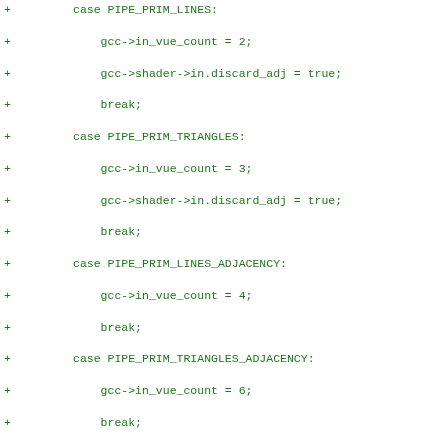Diff code block showing additions to a C source file with switch/case statements for PIPE_PRIM types